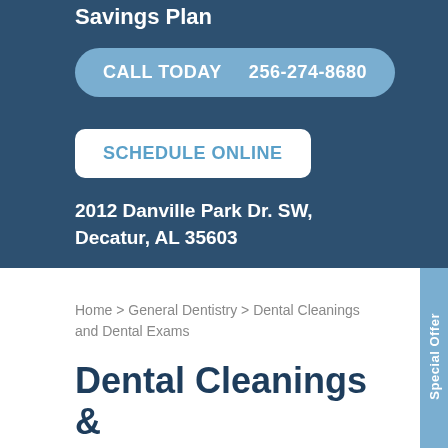Savings Plan
CALL TODAY   256-274-8680
SCHEDULE ONLINE
2012 Danville Park Dr. SW, Decatur, AL 35603
Home > General Dentistry > Dental Cleanings and Dental Exams
Dental Cleanings & Dental Exams Freshen Up Your Smile
Special Offer